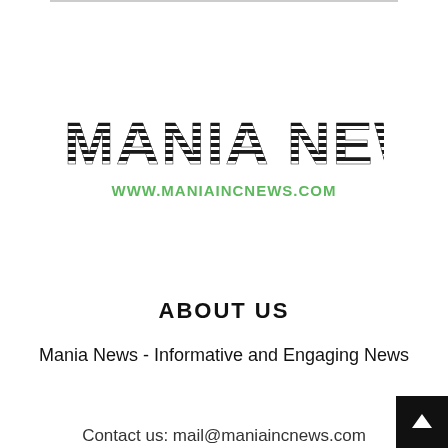[Figure (logo): Mania News logo with striped/lined bold uppercase lettering and green URL underneath]
ABOUT US
Mania News - Informative and Engaging News
Contact us: mail@maniaincnews.com